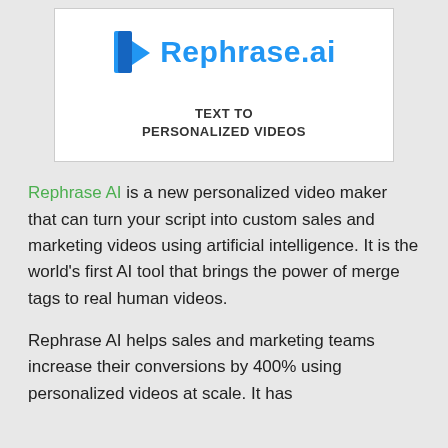[Figure (logo): Rephrase.ai logo with blue icon (book/video play symbol) and blue text 'Rephrase.ai', below which reads 'TEXT TO PERSONALIZED VIDEOS' in bold dark text, all on white background.]
Rephrase AI is a new personalized video maker that can turn your script into custom sales and marketing videos using artificial intelligence. It is the world's first AI tool that brings the power of merge tags to real human videos.
Rephrase AI helps sales and marketing teams increase their conversions by 400% using personalized videos at scale. It has